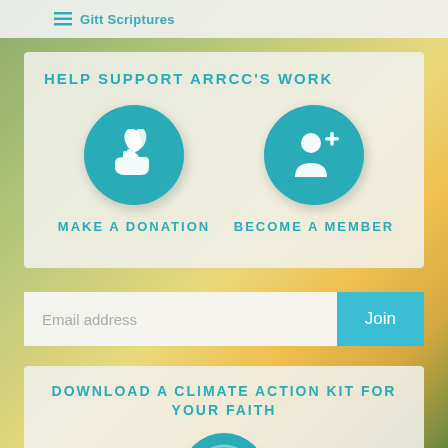Gitt Scriptures
HELP SUPPORT ARRCC'S WORK
[Figure (illustration): Teal circle icon with a hand holding two leaves (donation icon)]
MAKE A DONATION
[Figure (illustration): Teal circle icon with a person silhouette and plus sign (become a member icon)]
BECOME A MEMBER
Email address
Join
DOWNLOAD A CLIMATE ACTION KIT FOR YOUR FAITH